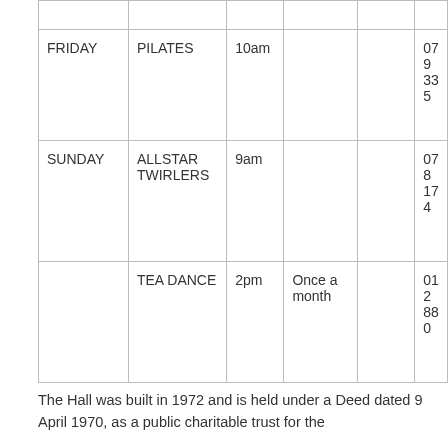|  |  |  |  |  |  |
| FRIDAY | PILATES | 10am |  |  | 079
335 |
| SUNDAY | ALLSTAR TWIRLERS | 9am |  |  | 078
174 |
|  | TEA DANCE | 2pm | Once a month |  | 012
880 |
The Hall was built in 1972 and is held under a Deed dated 9 April 1970, as a public charitable trust for the